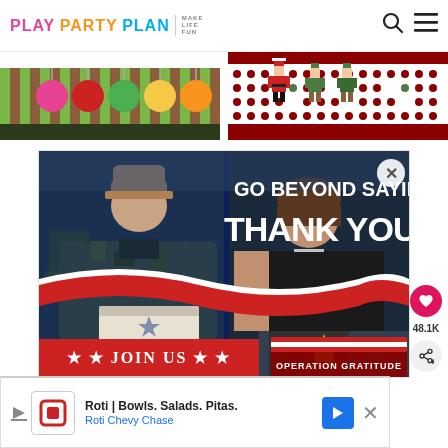PLAY PARTY PLAN | MAKE LIFE FUN
[Figure (illustration): Christmas banner strip showing ornaments (pink, red, green, yellow, orange) on striped background on left, and pixel-art Santa/elves figures on dotted background on right]
[Figure (photo): Operation Gratitude advertisement: 'GO BEYOND SAYING THANK YOU' with military person receiving a box from a civilian woman. Red banner at bottom says '★ ★ JOIN US ★ ★' and Operation Gratitude logo on right.]
48.1K
[Figure (infographic): Bottom advertisement banner: Roti | Bowls. Salads. Pitas. / Roti Chevy Chase, with red logo icon on left and blue navigation arrow on right]